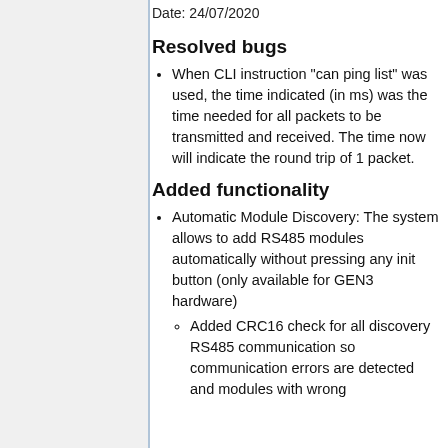Date: 24/07/2020
Resolved bugs
When CLI instruction "can ping list" was used, the time indicated (in ms) was the time needed for all packets to be transmitted and received. The time now will indicate the round trip of 1 packet.
Added functionality
Automatic Module Discovery: The system allows to add RS485 modules automatically without pressing any init button (only available for GEN3 hardware)
Added CRC16 check for all discovery RS485 communication so communication errors are detected and modules with wrong